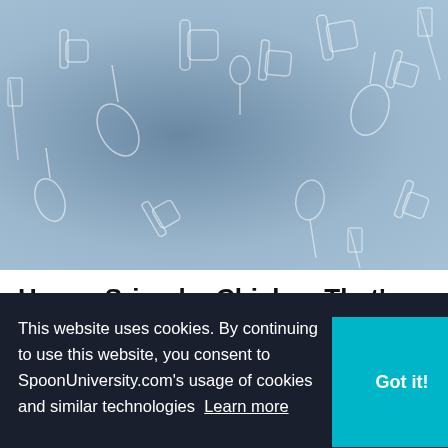[Figure (photo): Hero image of a food dish (chicken) in a bowl with a blue tint overlay and white outlined kitchen utensil patterns (whisks, rolling pins, spoons, spatulas) scattered across the background]
Honey Sriracha Chicken That’s Faster Than Takeout
Ditch the MSG.
by Rayna Mohrmann at University of Richmond
[Figure (infographic): Advertisement banner: HC logo on yellow background, text 'View store hours, get directions, or call your salon!', blue diamond arrow icon on right]
This website uses cookies. By continuing to use this website, you consent to SpoonUniversity.com’s usage of cookies and similar technologies Learn more
[Figure (other): Got it! button in teal/cyan color]